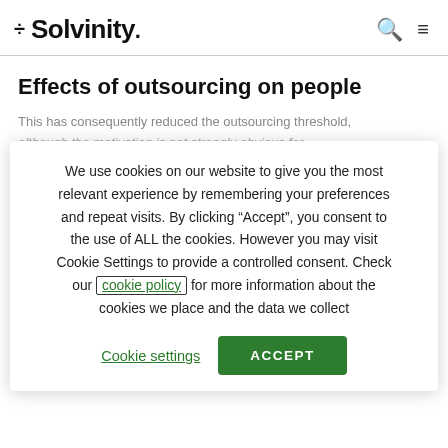÷ Solvinity.
Effects of outsourcing on people
This has consequently reduced the outsourcing threshold, although the motivation is not strongly obvious for the existing staff. In 2017, the ICT outsourcing of the city of Groningen led to great unrest with considerable opposition among staff and even local politicians, because jobs were in danger of being cut. It is possible that the transition to public administration had to close scrutiny from residents as well as municipal staff. Municipalities are often confronted with outsourcing for the first time (the so-called first time outsourcing).
We use cookies on our website to give you the most relevant experience by remembering your preferences and repeat visits. By clicking “Accept”, you consent to the use of ALL the cookies. However you may visit Cookie Settings to provide a controlled consent. Check our cookie policy for more information about the cookies we place and the data we collect
Cookie settings
ACCEPT